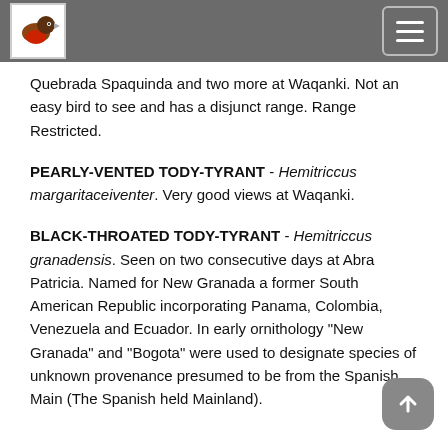[Bird watching site header with logo and menu button]
Quebrada Spaquinda and two more at Waqanki. Not an easy bird to see and has a disjunct range. Range Restricted.
PEARLY-VENTED TODY-TYRANT - Hemitriccus margaritaceiventer. Very good views at Waqanki.
BLACK-THROATED TODY-TYRANT - Hemitriccus granadensis. Seen on two consecutive days at Abra Patricia. Named for New Granada a former South American Republic incorporating Panama, Colombia, Venezuela and Ecuador. In early ornithology “New Granada” and “Bogota” were used to designate species of unknown provenance presumed to be from the Spanish Main (The Spanish held Mainland).